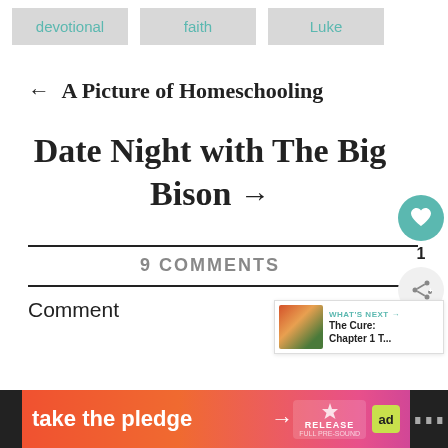devotional
faith
Luke
← A Picture of Homeschooling
Date Night with The Big Bison →
9 COMMENTS
Comment
[Figure (screenshot): Take the pledge ad banner with orange-pink gradient, arrow, RELEASE and ed logos]
[Figure (infographic): What's Next panel showing autumn landscape thumbnail with text 'The Cure: Chapter 1 T...']